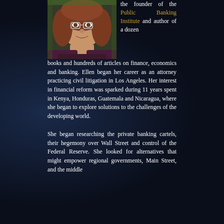[Figure (photo): Portrait photo of a woman with reddish-brown hair wearing glasses and a dark jacket, smiling.]
the founder of the Public Banking Institute and author of a dozen books and hundreds of articles on finance, economics and banking. Ellen began her career as an attorney practicing civil litigation in Los Angeles. Her interest in financial reform was sparked during 11 years spent in Kenya, Honduras, Guatemala and Nicaragua, where she began to explore solutions to the challenges of the developing world.
She began researching the private banking cartels, their hegemony over Wall Street and control of the Federal Reserve. She looked for alternatives that might empower regional governments, Main Street, and the middle